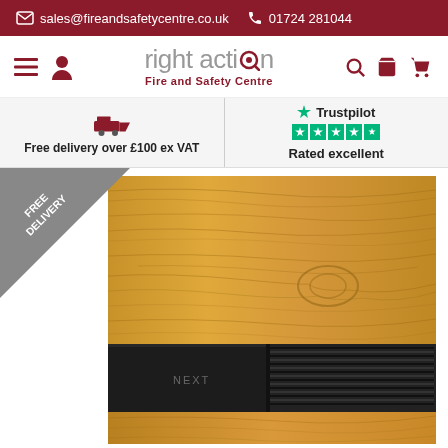sales@fireandsafetycentre.co.uk  01724 281044
[Figure (logo): Right Action Fire and Safety Centre logo]
Free delivery over £100 ex VAT
Trustpilot Rated excellent
[Figure (photo): Product image showing a wooden panel door closer with black metal rail, branded NEXT]